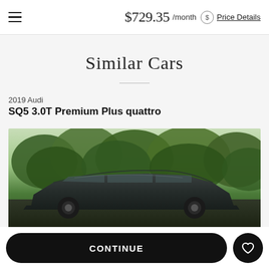$729.35 /month  Price Details
Similar Cars
2019 Audi
SQ5 3.0T Premium Plus quattro
[Figure (photo): 2019 Audi SQ5 3.0T Premium Plus quattro - dark colored SUV photographed outdoors with green trees in background]
CONTINUE